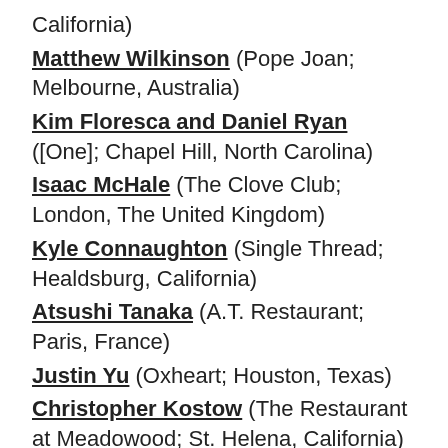California)
Matthew Wilkinson (Pope Joan; Melbourne, Australia)
Kim Floresca and Daniel Ryan ([One]; Chapel Hill, North Carolina)
Isaac McHale (The Clove Club; London, The United Kingdom)
Kyle Connaughton (Single Thread; Healdsburg, California)
Atsushi Tanaka (A.T. Restaurant; Paris, France)
Justin Yu (Oxheart; Houston, Texas)
Christopher Kostow (The Restaurant at Meadowood; St. Helena, California)
~
Photos: The Restaurant at Meadowood, St.